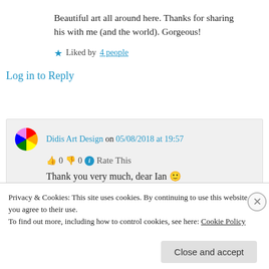Beautiful art all around here. Thanks for sharing his with me (and the world). Gorgeous!
★ Liked by 4 people
Log in to Reply
Didis Art Design on 05/08/2018 at 19:57
👍 0 👎 0 ℹ Rate This
Thank you very much, dear Ian 🙂
Privacy & Cookies: This site uses cookies. By continuing to use this website, you agree to their use.
To find out more, including how to control cookies, see here: Cookie Policy
Close and accept